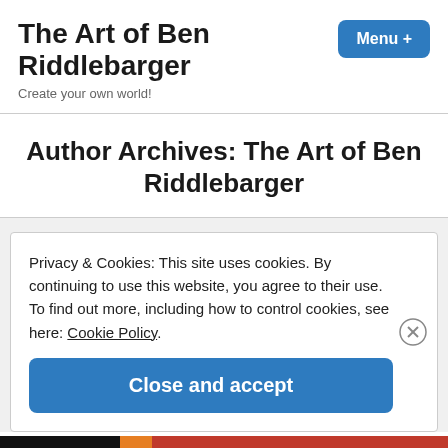The Art of Ben Riddlebarger
Create your own world!
Author Archives: The Art of Ben Riddlebarger
Privacy & Cookies: This site uses cookies. By continuing to use this website, you agree to their use.
To find out more, including how to control cookies, see here: Cookie Policy
Close and accept